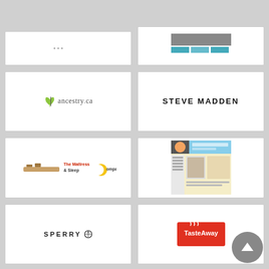[Figure (logo): Partial top-left card, partially visible at top]
[Figure (screenshot): Partial top-right card showing a website/product screenshot with furniture images]
[Figure (logo): ancestry.ca logo with green leaf icon and text]
[Figure (logo): Steve Madden logo in bold black uppercase text]
[Figure (logo): The Mattress & Sleep Company logo with mattress/wood icon]
[Figure (screenshot): Here Come Baby website screenshot showing baby products]
[Figure (logo): Sperry logo with compass rose icon]
[Figure (logo): TasteAway logo in red rectangle with white text]